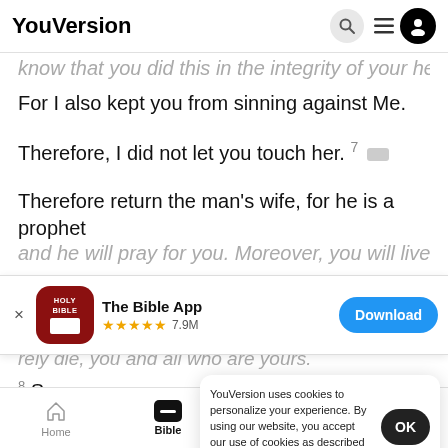YouVersion
know that you did this in the integrity of your heart.
For I also kept you from sinning against Me.
Therefore, I did not let you touch her. 7
Therefore return the man's wife, for he is a prophet
and he will pray for you. Moreover, you will live
[Figure (screenshot): Holy Bible app icon - red book with HOLY BIBLE text]
The Bible App ★★★★★ 7.9M
Download
rely die, you and all who are yours.
8 So, ...
called a...
YouVersion uses cookies to personalize your experience. By using our website, you accept our use of cookies as described in our Privacy Policy.
Home  Bible  Plans  Videos